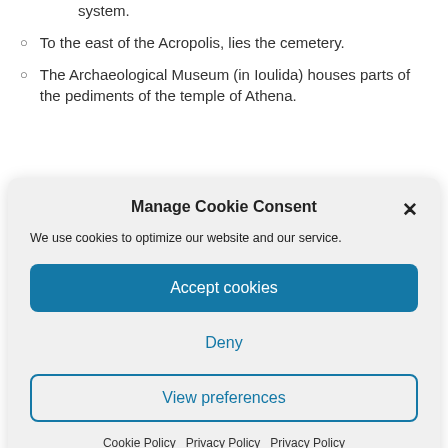system.
To the east of the Acropolis, lies the cemetery.
The Archaeological Museum (in Ioulida) houses parts of the pediments of the temple of Athena.
Manage Cookie Consent
We use cookies to optimize our website and our service.
Accept cookies
Deny
View preferences
Cookie Policy   Privacy Policy   Privacy Policy